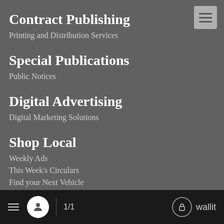Contract Publishing
Printing and Distribution Services
Special Publications
Public Notices
Digital Advertising
Digital Marketing Solutions
Shop Local
Weekly Ads
This Week's Circulars
Find your Next Vehicle
Special Sections
Insiders
Submit
1/1   wallit